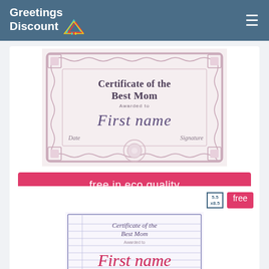Greetings Discount
[Figure (illustration): Certificate of the Best Mom - decorative certificate with pink border, cursive First name, Date and Signature fields]
free in eco quality
[Figure (illustration): Second certificate of the Best Mom with blue lined border, smaller preview showing First name in red cursive]